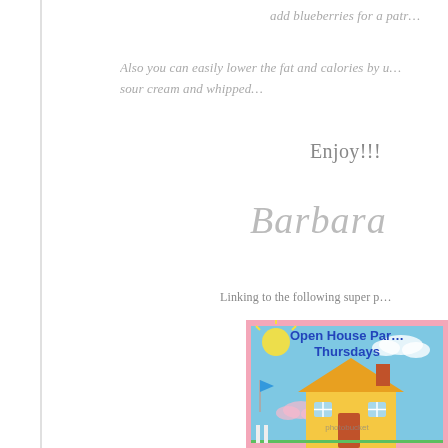add blueberries for a patr…
Also you can easily lower the fat and calories by u… sour cream and whipped…
Enjoy!!!
Barbara
Linking to the following super p…
[Figure (illustration): Open House Party Thursdays illustrated banner with cartoon house, sun, clouds, and photobucket watermark]